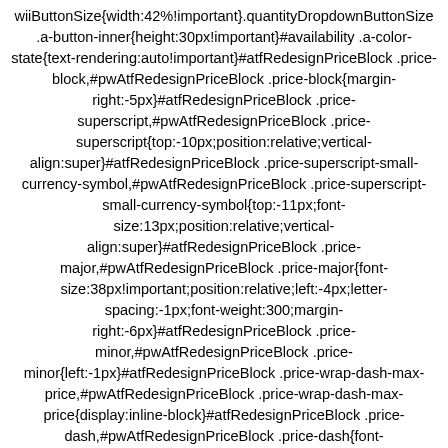wiiButtonSize{width:42%!important}.quantityDropdownButtonSize .a-button-inner{height:30px!important}#availability .a-color-state{text-rendering:auto!important}#atfRedesignPriceBlock .price-block,#pwAtfRedesignPriceBlock .price-block{margin-right:-5px}#atfRedesignPriceBlock .price-superscript,#pwAtfRedesignPriceBlock .price-superscript{top:-10px;position:relative;vertical-align:super}#atfRedesignPriceBlock .price-superscript-small-currency-symbol,#pwAtfRedesignPriceBlock .price-superscript-small-currency-symbol{top:-11px;font-size:13px;position:relative;vertical-align:super}#atfRedesignPriceBlock .price-major,#pwAtfRedesignPriceBlock .price-major{font-size:38px!important;position:relative;left:-4px;letter-spacing:-1px;font-weight:300;margin-right:-6px}#atfRedesignPriceBlock .price-minor,#pwAtfRedesignPriceBlock .price-minor{left:-1px}#atfRedesignPriceBlock .price-wrap-dash-max-price,#pwAtfRedesignPriceBlock .price-wrap-dash-max-price{display:inline-block}#atfRedesignPriceBlock .price-dash,#pwAtfRedesignPriceBlock .price-dash{font-size:38px!important;margin-right:-9px;font-weight:300}#atfRedesignPriceBlock .price-minimum-price,#pwAtfRedesignPriceBlock .price-minimum-price{margin-right:-3px}#atfRedesignPriceBlock .list-savings-price,#pwAtfRedesignPriceBlock .list-savings-price{font-